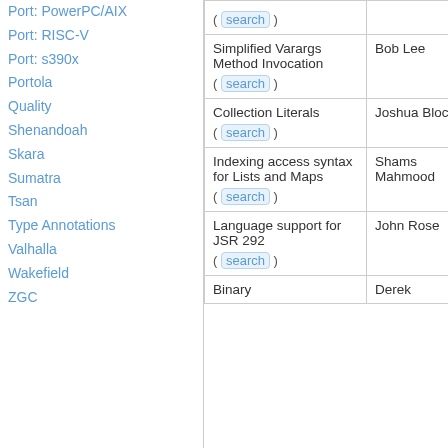Port: PowerPC/AIX
Port: RISC-V
Port: s390x
Portola
Quality
Shenandoah
Skara
Sumatra
Tsan
Type Annotations
Valhalla
Wakefield
ZGC
| Feature | Owner | Date |
| --- | --- | --- |
| Simplified Varargs Method Invocation ( search ) | Bob Lee | March 2009 |
| Collection Literals ( search ) | Joshua Bloch | March 30, 20 |
| Indexing access syntax for Lists and Maps ( search ) | Shams Mahmood | March 30, 20 |
| Language support for JSR 292 ( search ) | John Rose | March 28, 20 |
| Binary | Derek | March |